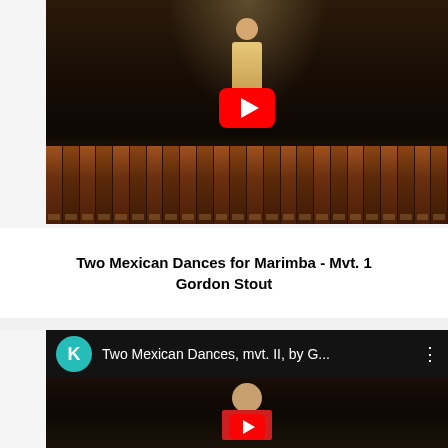[Figure (screenshot): YouTube video thumbnail showing a performer playing a marimba on a dark stage with a spotlight, YouTube play button overlay visible in center]
Two Mexican Dances for Marimba - Mvt. 1
Gordon Stout
[Figure (screenshot): YouTube video preview showing header with teal K avatar, title 'Two Mexican Dances, mvt. II, by G...' with three-dot menu, and partial view of performer on dark stage]